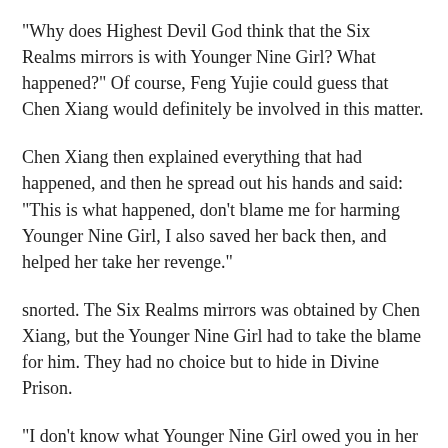"Why does Highest Devil God think that the Six Realms mirrors is with Younger Nine Girl? What happened?" Of course, Feng Yujie could guess that Chen Xiang would definitely be involved in this matter.
Chen Xiang then explained everything that had happened, and then he spread out his hands and said: "This is what happened, don't blame me for harming Younger Nine Girl, I also saved her back then, and helped her take her revenge."
snorted. The Six Realms mirrors was obtained by Chen Xiang, but the Younger Nine Girl had to take the blame for him. They had no choice but to hide in Divine Prison.
"I don't know what Younger Nine Girl owed you in her previous life, but her Supreme god bone was with you, and the many years she searched for you were also taken away by you. In the end, she had to hide in Divine Prison, and you are here, living a carefree and carefree life." Feng Yujie said in an extremely displeased tone.
Chen Xiang also felt a little guilty, and laughed dryly: "Sister Feng, I will make it up to you in the future. Believe me, I hav